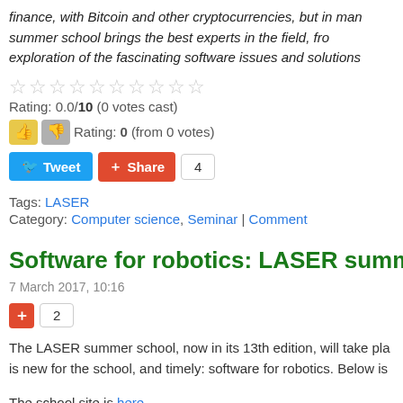finance, with Bitcoin and other cryptocurrencies, but in man summer school brings the best experts in the field, fro exploration of the fascinating software issues and solutions
Rating: 0.0/10 (0 votes cast)
Rating: 0 (from 0 votes)
Tweet | Share 4
Tags: LASER
Category: Computer science, Seminar | Comment
Software for robotics: LASER summer scho
7 March 2017, 10:16
Share 2
The LASER summer school, now in its 13th edition, will take pla is new for the school, and timely: software for robotics. Below is
The school site is here.